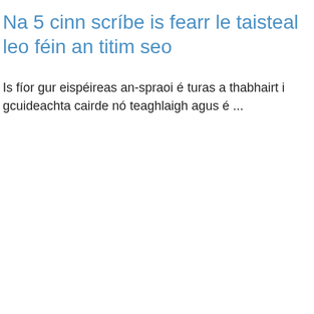Na 5 cinn scríbe is fearr le taisteal leo féin an titim seo
Is fíor gur eispéireas an-spraoi é turas a thabhairt i gcuideachta cairde nó teaghlaigh agus é ...